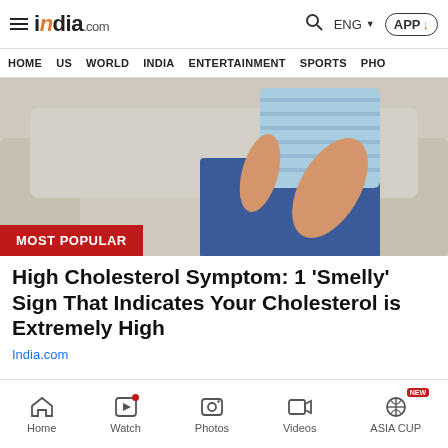india.com — HOME  US  WORLD  INDIA  ENTERTAINMENT  SPORTS  PHO
[Figure (photo): Person in blue striped shirt and jeans sitting on a grey sofa, with 'MOST POPULAR' red badge overlay]
High Cholesterol Symptom: 1 'Smelly' Sign That Indicates Your Cholesterol is Extremely High
India.com
[Figure (other): Advertisement banner: 'Your next hotel is waiting for you' with hotel/city background image]
Home  Watch  Photos  Videos  ASIA CUP